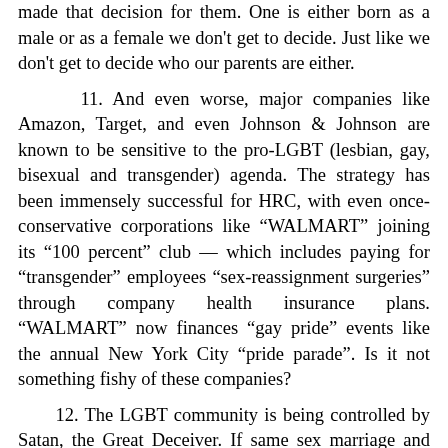made that decision for them. One is either born as a male or as a female we don't get to decide. Just like we don't get to decide who our parents are either.
11. And even worse, major companies like Amazon, Target, and even Johnson & Johnson are known to be sensitive to the pro-LGBT (lesbian, gay, bisexual and transgender) agenda. The strategy has been immensely successful for HRC, with even once-conservative corporations like “WALMART” joining its “100 percent” club — which includes paying for “transgender” employees “sex-reassignment surgeries” through company health insurance plans. “WALMART” now finances “gay pride” events like the annual New York City “pride parade”. Is it not something fishy of these companies?
12. The LGBT community is being controlled by Satan, the Great Deceiver. If same sex marriage and sex was normal, these people would be able to procreate naturally with their partner. As we know, this is impossible to do